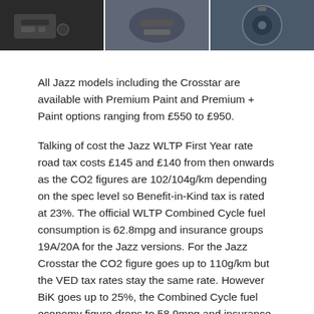[Figure (photo): Three close-up photos of Honda Jazz interior/exterior details side by side at the top of the page]
All Jazz models including the Crosstar are available with Premium Paint and Premium + Paint options ranging from £550 to £950.
Talking of cost the Jazz WLTP First Year rate road tax costs £145 and £140 from then onwards as the CO2 figures are 102/104g/km depending on the spec level so Benefit-in-Kind tax is rated at 23%. The official WLTP Combined Cycle fuel consumption is 62.8mpg and insurance groups 19A/20A for the Jazz versions. For the Jazz Crosstar the CO2 figure goes up to 110g/km but the VED tax rates stay the same rate. However BiK goes up to 25%, the Combined Cycle fuel economy figure drops to 58.9mpg and insurance is group 19A and warranty for all versions is 3-years/unlimited mileage.